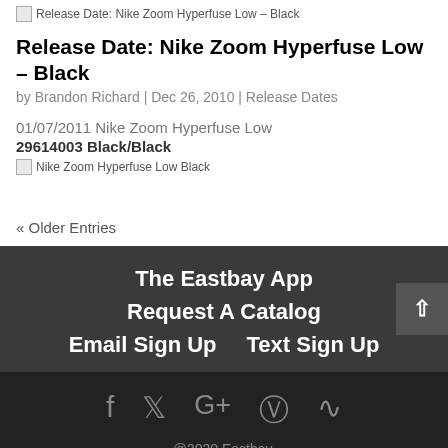[Figure (other): Broken image placeholder for Release Date: Nike Zoom Hyperfuse Low – Black article thumbnail]
Release Date: Nike Zoom Hyperfuse Low – Black
by Brandon Richard | Dec 26, 2010 | Release Dates
01/07/2011 Nike Zoom Hyperfuse Low
29614003 Black/Black
[Figure (photo): Broken image placeholder for Nike Zoom Hyperfuse Low Black shoe photo]
« Older Entries
The Eastbay App
Request A Catalog
Email Sign Up    Text Sign Up
@2020 Eastbay.